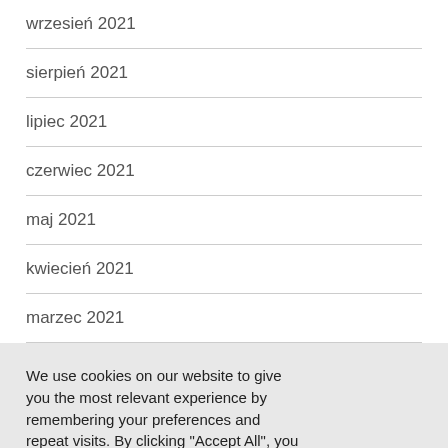wrzesień 2021
sierpień 2021
lipiec 2021
czerwiec 2021
maj 2021
kwiecień 2021
marzec 2021
We use cookies on our website to give you the most relevant experience by remembering your preferences and repeat visits. By clicking “Accept All”, you consent to the use of ALL the cookies. However, you may visit "Cookie Settings" to provide a controlled consent.